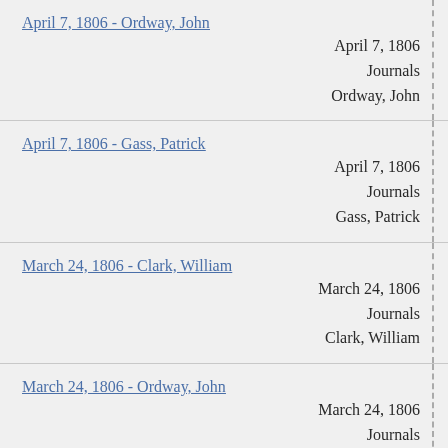April 7, 1806 - Ordway, John
April 7, 1806
Journals
Ordway, John
April 7, 1806 - Gass, Patrick
April 7, 1806
Journals
Gass, Patrick
March 24, 1806 - Clark, William
March 24, 1806
Journals
Clark, William
March 24, 1806 - Ordway, John
March 24, 1806
Journals
Ordway, John